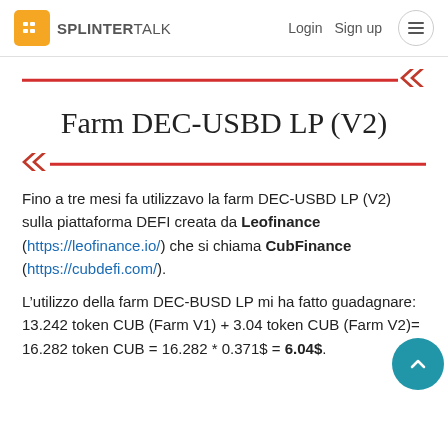SPLINTERTALK | Login | Sign up
Farm DEC-USBD LP (V2)
Fino a tre mesi fa utilizzavo la farm DEC-USBD LP (V2) sulla piattaforma DEFI creata da Leofinance (https://leofinance.io/) che si chiama CubFinance (https://cubdefi.com/).
L’utilizzo della farm DEC-BUSD LP mi ha fatto guadagnare: 13.242 token CUB (Farm V1) + 3.04 token CUB (Farm V2)= 16.282 token CUB = 16.282 * 0.371$ = 6.04$.